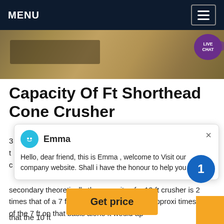MENU
[Figure (photo): Outdoor construction or mining scene with machinery on sandy/dirt ground]
Capacity Of Ft Shorthead Cone Crusher
3 ... t ... c ...
secondary theoretically the capacity of a 10 ft crusher is 2 times that of a 7 ft while the selling price is approxi... times that of the 7 ft on that basis alone it would ap...
Emma — Hello, dear friend, this is Emma , welcome to Visit our company website. Shall i have the honour to help you about
that the 10 ft
Get price